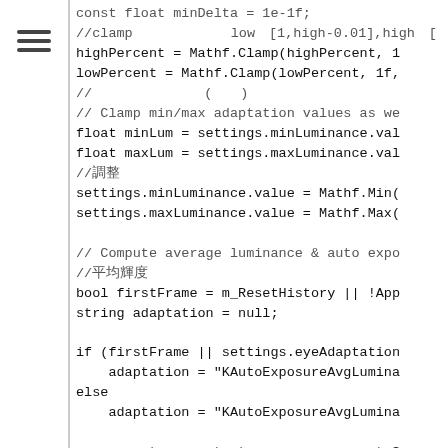[Figure (other): Hamburger menu icon (three horizontal lines) in left sidebar]
const float minDelta = 1e-1f;
//clamp　　　　　　　low　[1,high-0.01],high　[
highPercent = Mathf.Clamp(highPercent, 1
lowPercent = Mathf.Clamp(lowPercent, 1f,
//　　　　　　　　(　　)
// Clamp min/max adaptation values as we
float minLum = settings.minLuminance.val
float maxLum = settings.maxLuminance.val
//調整
settings.minLuminance.value = Mathf.Min(
settings.maxLuminance.value = Mathf.Max(

// Compute average luminance & auto expo
//平均輝度
bool firstFrame = m_ResetHistory || !App
string adaptation = null;

if (firstFrame || settings.eyeAdaptation
    adaptation = "KAutoExposureAvgLumina
else
    adaptation = "KAutoExposureAvgLumina

var compute = context.resources.computeS
int kernel = compute.FindKernel(adaptati
cmd.SetComputeBufferParam(compute, kerne